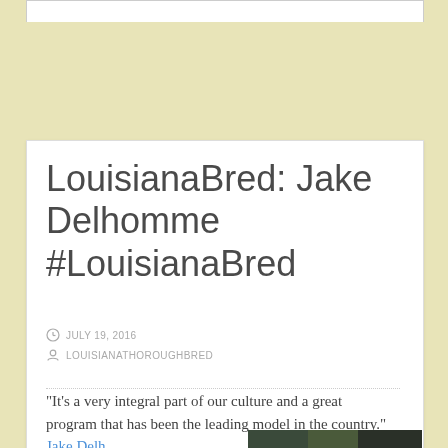LouisianaBred: Jake Delhomme #LouisianaBred
JULY 19, 2016
LOUISIANATHOROUGHBRED
“It’s a very integral part of our culture and a great program that has been the leading model in the country.”
[Figure (photo): Partial view of a person outdoors, cropped at bottom of page]